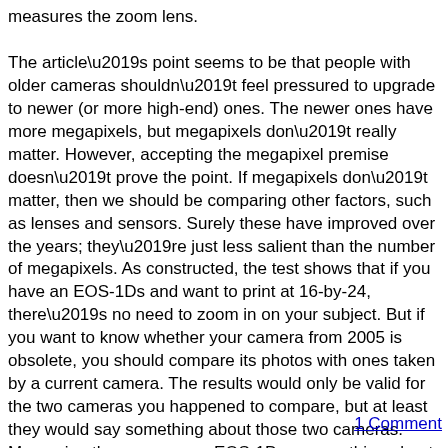measures the zoom lens.
The article’s point seems to be that people with older cameras shouldn’t feel pressured to upgrade to newer (or more high-end) ones. The newer ones have more megapixels, but megapixels don’t really matter. However, accepting the megapixel premise doesn’t prove the point. If megapixels don’t matter, then we should be comparing other factors, such as lenses and sensors. Surely these have improved over the years; they’re just less salient than the number of megapixels. As constructed, the test shows that if you have an EOS-1Ds and want to print at 16-by-24, there’s no need to zoom in on your subject. But if you want to know whether your camera from 2005 is obsolete, you should compare its photos with ones taken by a current camera. The results would only be valid for the two cameras you happened to compare, but at least they would say something about those two cameras. Measuring the zoom on an EOS-1Ds says nothing about your camera or the one the salesperson is showing you.
1 Comment